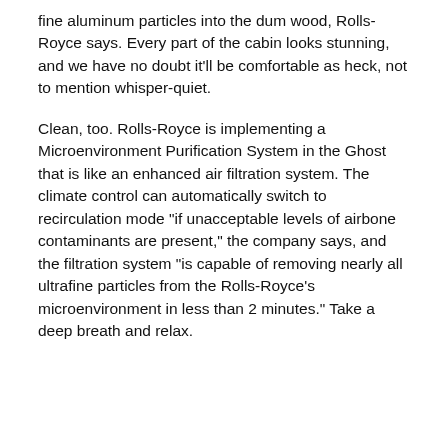fine aluminum particles into the dum wood, Rolls-Royce says. Every part of the cabin looks stunning, and we have no doubt it'll be comfortable as heck, not to mention whisper-quiet.
Clean, too. Rolls-Royce is implementing a Microenvironment Purification System in the Ghost that is like an enhanced air filtration system. The climate control can automatically switch to recirculation mode "if unacceptable levels of airbone contaminants are present," the company says, and the filtration system "is capable of removing nearly all ultrafine particles from the Rolls-Royce's microenvironment in less than 2 minutes." Take a deep breath and relax.